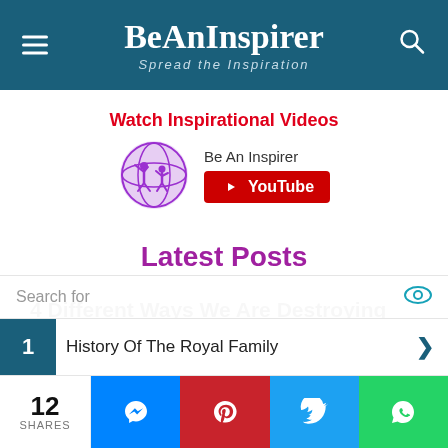BeAnInspirer – Spread the Inspiration
Watch Inspirational Videos
[Figure (logo): BeAnInspirer globe logo with purple illustration and YouTube subscribe button]
Latest Posts
4 Different Ways We Are Destroying Planet
Search for
1 History Of The Royal Family
12 SHARES
[Figure (infographic): Social share buttons: Messenger, Pinterest, Twitter, WhatsApp]